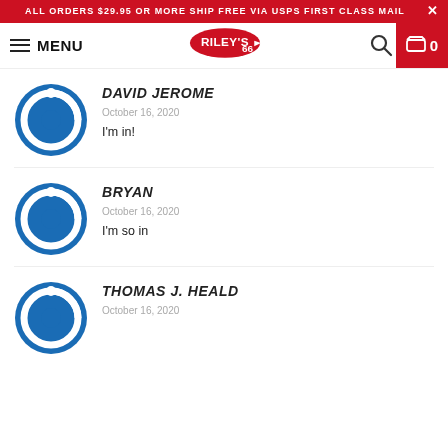ALL ORDERS $29.95 OR MORE SHIP FREE VIA USPS FIRST CLASS MAIL
MENU | Riley's 66 | Search | Cart 0
DAVID JEROME
October 16, 2020
I'm in!
BRYAN
October 16, 2020
I'm so in
THOMAS J. HEALD
October 16, 2020